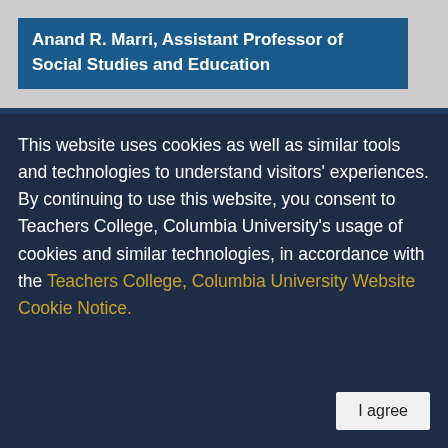[Figure (photo): Photograph partially visible at top of page, showing a person (Anand R. Marri)]
Anand R. Marri, Assistant Professor of Social Studies and Education
This website uses cookies as well as similar tools and technologies to understand visitors' experiences. By continuing to use this website, you consent to Teachers College, Columbia University's usage of cookies and similar technologies, in accordance with the Teachers College, Columbia University Website Cookie Notice.